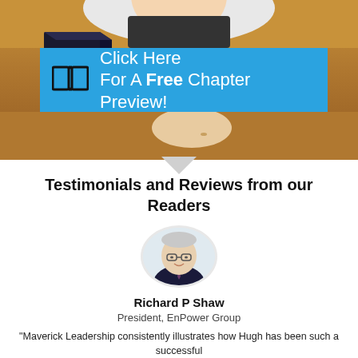[Figure (photo): Book or product box with a blue banner showing an open book icon and text 'Click Here For A Free Chapter Preview!' set against a wooden background with a smiling person visible at top]
Testimonials and Reviews from our Readers
[Figure (photo): Circular portrait photo of Richard P Shaw, an older man wearing glasses and a dark suit with tie]
Richard P Shaw
President, EnPower Group
"Maverick Leadership consistently illustrates how Hugh has been such a successful